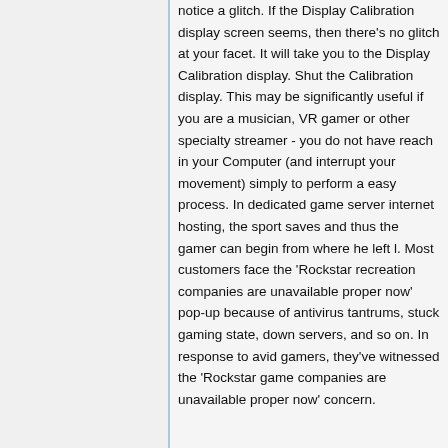notice a glitch. If the Display Calibration display screen seems, then there's no glitch at your facet. It will take you to the Display Calibration display. Shut the Calibration display. This may be significantly useful if you are a musician, VR gamer or other specialty streamer - you do not have reach in your Computer (and interrupt your movement) simply to perform a easy process. In dedicated game server internet hosting, the sport saves and thus the gamer can begin from where he left l. Most customers face the 'Rockstar recreation companies are unavailable proper now' pop-up because of antivirus tantrums, stuck gaming state, down servers, and so on. In response to avid gamers, they've witnessed the 'Rockstar game companies are unavailable proper now' concern.